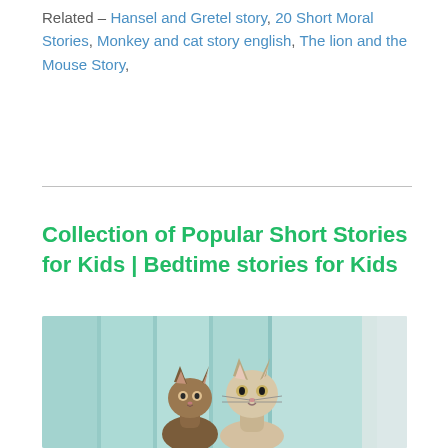Related – Hansel and Gretel story, 20 Short Moral Stories, Monkey and cat story english, The lion and the Mouse Story,
Collection of Popular Short Stories for Kids | Bedtime stories for Kids
[Figure (photo): Two Siamese/Burmese-style cat figurines or kittens sitting in front of a blurred teal/glass background]